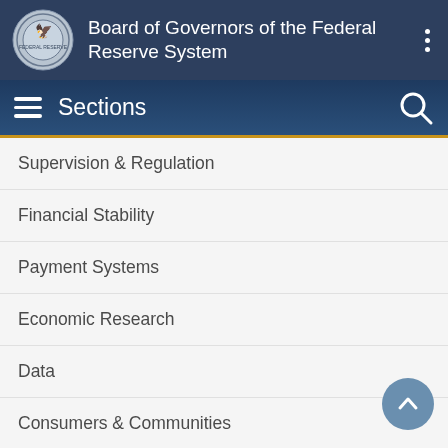Board of Governors of the Federal Reserve System
Sections
Supervision & Regulation
Financial Stability
Payment Systems
Economic Research
Data
Consumers & Communities
TOOLS AND INFORMATION
Contact
Publications
Freedom of Information (FOIA)